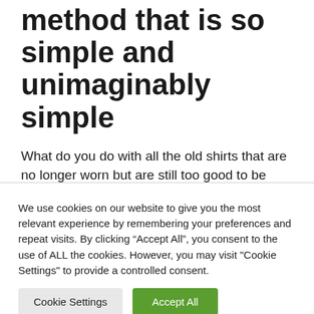method that is so simple and unimaginably simple
What do you do with all the old shirts that are no longer worn but are still too good to be thrown away?
We use cookies on our website to give you the most relevant experience by remembering your preferences and repeat visits. By clicking “Accept All”, you consent to the use of ALL the cookies. However, you may visit "Cookie Settings" to provide a controlled consent.